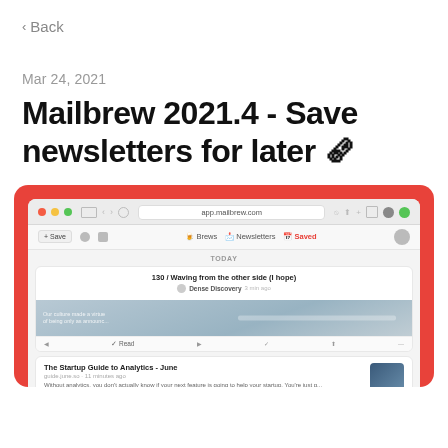< Back
Mar 24, 2021
Mailbrew 2021.4 - Save newsletters for later 🗞
[Figure (screenshot): Screenshot of the Mailbrew web app at app.mailbrew.com showing a browser window with a red/coral background. The interface shows a 'Saved' tab selected in the navigation. Under 'TODAY' section shows an email titled '130 / Waving from the other side (I hope)' from Dense Discovery, with a preview image. Below is another email 'The Startup Guide to Analytics - June' from guide.june.so.]